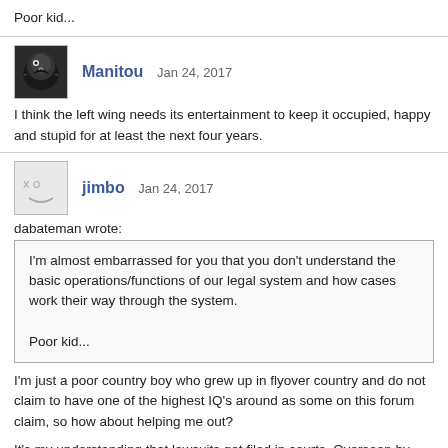Poor kid...
Manitou   Jan 24, 2017
I think the left wing needs its entertainment to keep it occupied, happy and stupid for at least the next four years.
jimbo   Jan 24, 2017
dabateman wrote:
I'm almost embarrassed for you that you don't understand the basic operations/functions of our legal system and how cases work their way through the system.

Poor kid...
I'm just a poor country boy who grew up in flyover country and do not claim to have one of the highest IQ's around as some on this forum claim, so how about helping me out?
It's my understanding that lawsuits get filed in courts. Overseen by judges. Who rule. If the parties still disagree, the case move up.